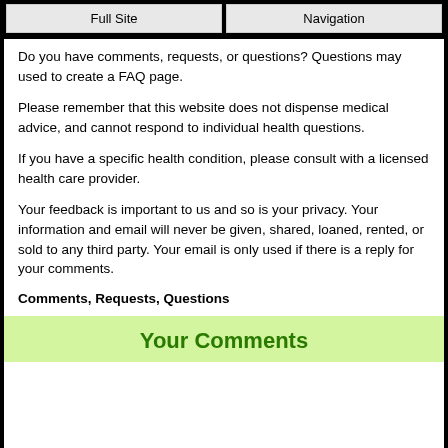Full Site | Navigation
Do you have comments, requests, or questions? Questions may used to create a FAQ page.
Please remember that this website does not dispense medical advice, and cannot respond to individual health questions.
If you have a specific health condition, please consult with a licensed health care provider.
Your feedback is important to us and so is your privacy. Your information and email will never be given, shared, loaned, rented, or sold to any third party. Your email is only used if there is a reply for your comments.
Comments, Requests, Questions
Your Comments